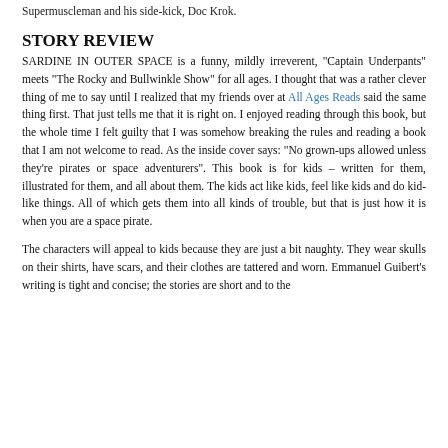Supermuscleman and his side-kick, Doc Krok.
STORY REVIEW
SARDINE IN OUTER SPACE is a funny, mildly irreverent, “Captain Underpants” meets “The Rocky and Bullwinkle Show” for all ages. I thought that was a rather clever thing of me to say until I realized that my friends over at All Ages Reads said the same thing first. That just tells me that it is right on. I enjoyed reading through this book, but the whole time I felt guilty that I was somehow breaking the rules and reading a book that I am not welcome to read. As the inside cover says: “No grown-ups allowed unless they’re pirates or space adventurers”. This book is for kids – written for them, illustrated for them, and all about them. The kids act like kids, feel like kids and do kid-like things. All of which gets them into all kinds of trouble, but that is just how it is when you are a space pirate.
The characters will appeal to kids because they are just a bit naughty. They wear skulls on their shirts, have scars, and their clothes are tattered and worn. Emmanuel Guibert’s writing is tight and concise; the stories are short and to the